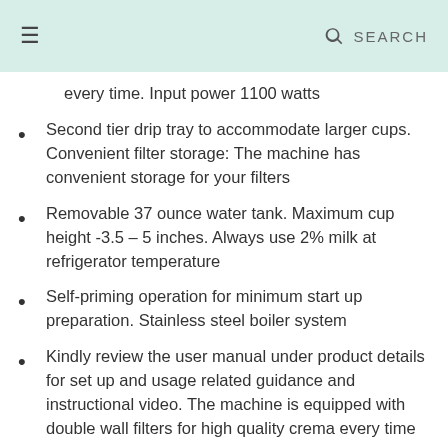≡  🔍 SEARCH
every time. Input power 1100 watts
Second tier drip tray to accommodate larger cups. Convenient filter storage: The machine has convenient storage for your filters
Removable 37 ounce water tank. Maximum cup height -3.5 – 5 inches. Always use 2% milk at refrigerator temperature
Self-priming operation for minimum start up preparation. Stainless steel boiler system
Kindly review the user manual under product details for set up and usage related guidance and instructional video. The machine is equipped with double wall filters for high quality crema every time